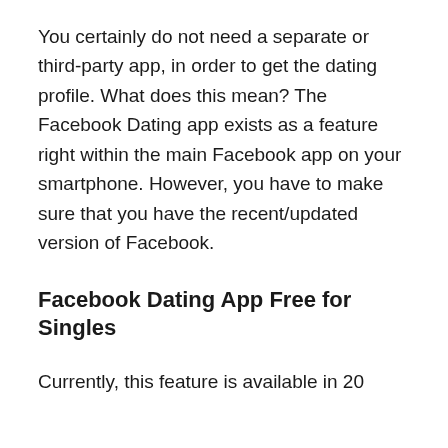You certainly do not need a separate or third-party app, in order to get the dating profile. What does this mean? The Facebook Dating app exists as a feature right within the main Facebook app on your smartphone. However, you have to make sure that you have the recent/updated version of Facebook.
Facebook Dating App Free for Singles
Currently, this feature is available in 20